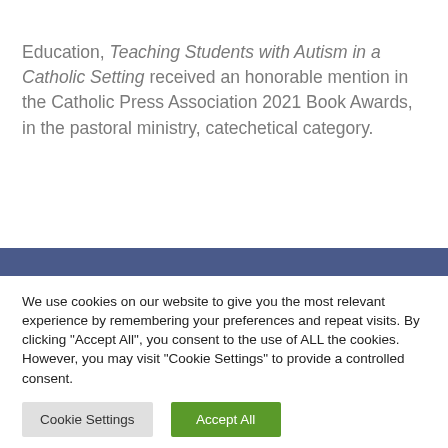Education, Teaching Students with Autism in a Catholic Setting received an honorable mention in the Catholic Press Association 2021 Book Awards, in the pastoral ministry, catechetical category.
We use cookies on our website to give you the most relevant experience by remembering your preferences and repeat visits. By clicking "Accept All", you consent to the use of ALL the cookies. However, you may visit "Cookie Settings" to provide a controlled consent.